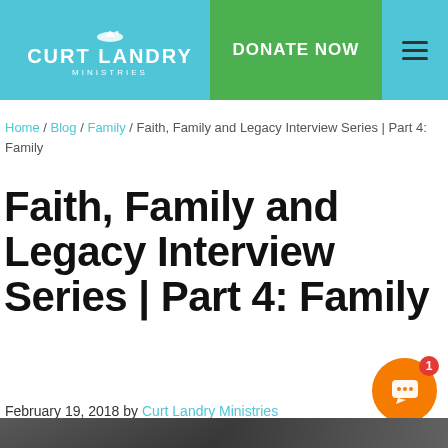CURT LANDRY MINISTRIES | DONATE NOW
Home / Blog / Family / Faith, Family and Legacy Interview Series | Part 4: Family
Faith, Family and Legacy Interview Series | Part 4: Family
February 19, 2018 by Curt Landry Ministries
[Figure (photo): Partial photo strip at bottom of page showing people outdoors]